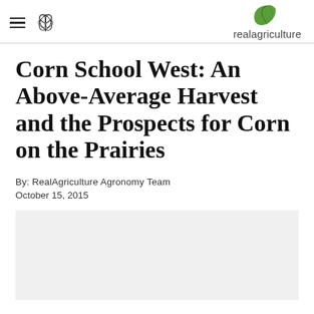realagriculture
Corn School West: An Above-Average Harvest and the Prospects for Corn on the Prairies
By: RealAgriculture Agronomy Team
October 15, 2015
[Figure (photo): Placeholder image area below article metadata]